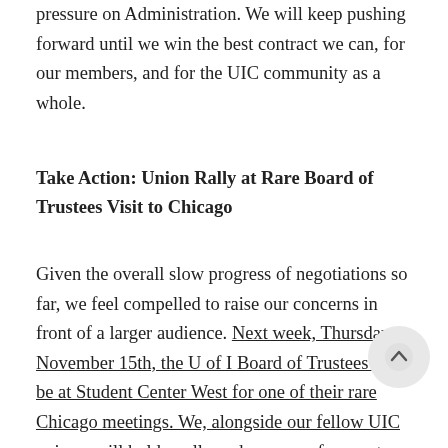pressure on Administration. We will keep pushing forward until we win the best contract we can, for our members, and for the UIC community as a whole.
Take Action: Union Rally at Rare Board of Trustees Visit to Chicago
Given the overall slow progress of negotiations so far, we feel compelled to raise our concerns in front of a larger audience. Next week, Thursday, November 15th, the U of I Board of Trustees will be at Student Center West for one of their rare Chicago meetings. We, alongside our fellow UIC unions, will hold a rally and press conference to show the Board that we will not stand by and be railroaded with a take-it-or-leave-it contract. We will also be joining our fellow workers in the Licensed Practical Nurses bargaining unit, who